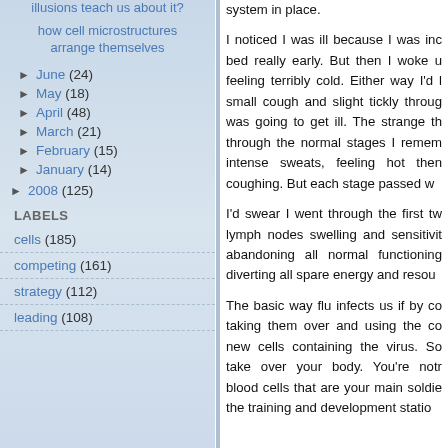illusions teach us about it?
how cell microstructures arrange themselves
► June (24)
► May (18)
► April (48)
► March (21)
► February (15)
► January (14)
► 2008 (125)
LABELS
cells (185)
competing (161)
strategy (112)
leading (108)
system in place.
I noticed I was ill because I was inc bed really early. But then I woke u feeling terribly cold. Either way I'd l small cough and slight tickly throug was going to get ill. The strange th through the normal stages I remem intense sweats, feeling hot then coughing. But each stage passed w
I'd swear I went through the first tw lymph nodes swelling and sensitivit abandoning all normal functioning diverting all spare energy and resou
The basic way flu infects us if by co taking them over and using the co new cells containing the virus. So take over your body. You're notr blood cells that are your main soldie the training and development statio